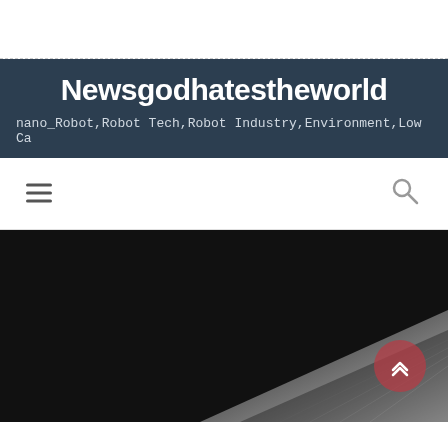Newsgodhatestheworld
nano_Robot,Robot Tech,Robot Industry,Environment,Low Ca
[Figure (screenshot): Navigation bar with hamburger menu icon on left and search icon on right]
[Figure (photo): Dark hero image showing a close-up of what appears to be a metallic or fibrous surface on a dark background, with a red circular back-to-top arrow button in the bottom right corner]